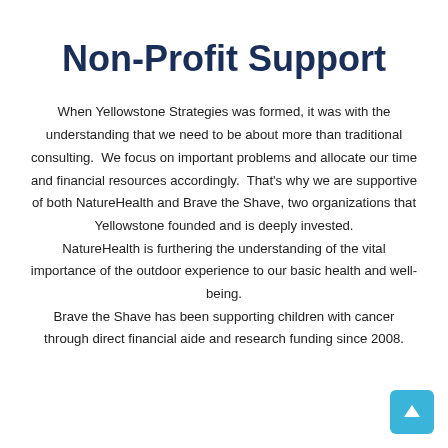Non-Profit Support
When Yellowstone Strategies was formed, it was with the understanding that we need to be about more than traditional consulting.  We focus on important problems and allocate our time and financial resources accordingly.  That's why we are supportive of both NatureHealth and Brave the Shave, two organizations that Yellowstone founded and is deeply invested.
NatureHealth is furthering the understanding of the vital importance of the outdoor experience to our basic health and well-being.
Brave the Shave has been supporting children with cancer through direct financial aide and research funding since 2008.